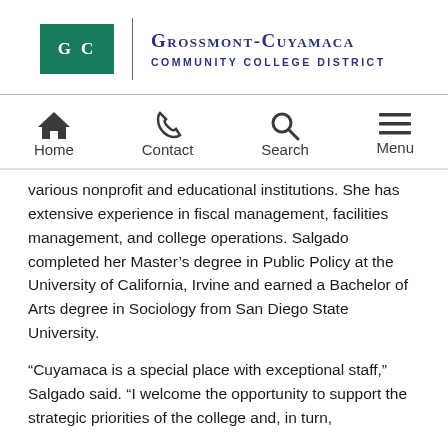[Figure (logo): Grossmont-Cuyamaca Community College District logo with G C letters in teal box and college name in dark blue]
Home  Contact  Search  Menu
various nonprofit and educational institutions. She has extensive experience in fiscal management, facilities management, and college operations. Salgado completed her Master's degree in Public Policy at the University of California, Irvine and earned a Bachelor of Arts degree in Sociology from San Diego State University.
“Cuyamaca is a special place with exceptional staff,” Salgado said. “I welcome the opportunity to support the strategic priorities of the college and, in turn,